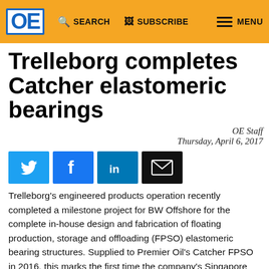OE  SEARCH  SUBSCRIBE  MENU
Trelleborg completes Catcher elastomeric bearings
OE Staff
Thursday, April 6, 2017
[Figure (other): Social sharing buttons: Twitter, Facebook, LinkedIn, Email]
Trelleborg's engineered products operation recently completed a milestone project for BW Offshore for the complete in-house design and fabrication of floating production, storage and offloading (FPSO) elastomeric bearing structures. Supplied to Premier Oil's Catcher FPSO in 2016, this marks the first time the company's Singapore facility has not only provided elastomeric bearings, but designed and manufactured the entire steel fabricated